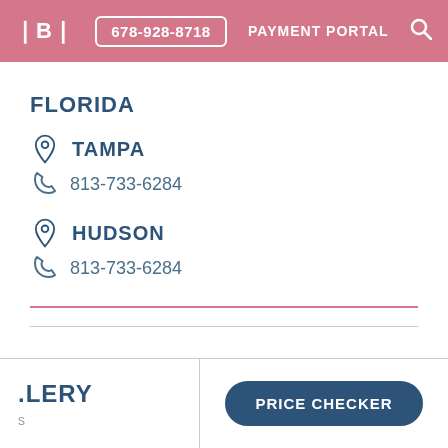IBI | 678-928-8718 | PAYMENT PORTAL
FLORIDA
TAMPA | 813-733-6284
HUDSON | 813-733-6284
.LERY
PRICE CHECKER